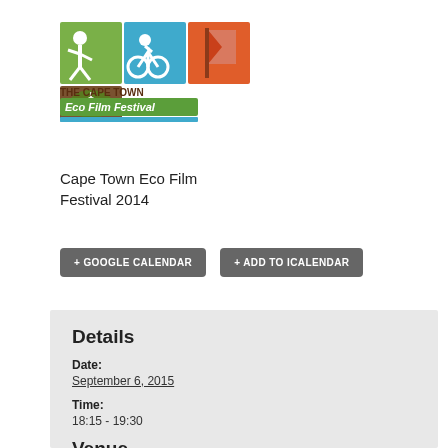[Figure (logo): The Cape Town Eco Film Festival logo with colored icons and green banner]
Cape Town Eco Film Festival 2014
+ GOOGLE CALENDAR
+ ADD TO ICALENDAR
Details
Date:
September 6, 2015
Time:
18:15 - 19:30
Venue
Labia Theater
Orange Street